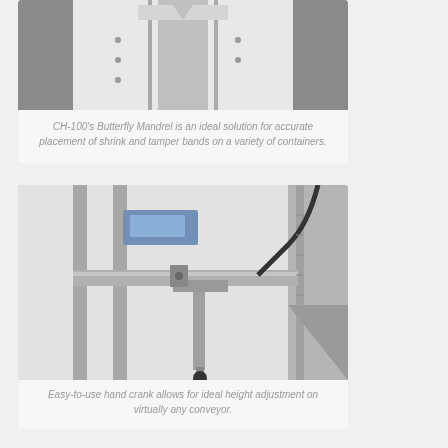[Figure (photo): Close-up photo of the CH-100 Butterfly Mandrel mechanism, showing white machine components with metal parts and screws]
CH-100's Butterfly Mandrel is an ideal solution for accurate placement of shrink and tamper bands on a variety of containers.
[Figure (photo): Close-up photo of a hand crank height adjustment mechanism on industrial conveyor equipment, showing metal frame, black cable, and black handle knob]
Easy-to-use hand crank allows for ideal height adjustment on virtually any conveyor.